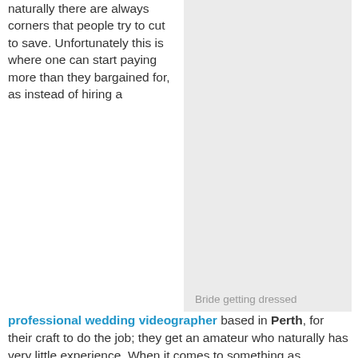naturally there are always corners that people try to cut to save. Unfortunately this is where one can start paying more than they bargained for, as instead of hiring a
[Figure (photo): Placeholder image with caption 'Bride getting dressed', light gray background]
Bride getting dressed
professional wedding videographer based in Perth, for their craft to do the job; they get an amateur who naturally has very little experience. When it comes to something as important as your wedding day, there are some corners that definitely shouldn't be cut, as there are many ways one can end up paying more than if they had spent that little extra and chose the professional right from the start and when it comes to the memories of your special day that you only have once chance to capture, this is one corner that should be taken correctly. Your Professional Wedding